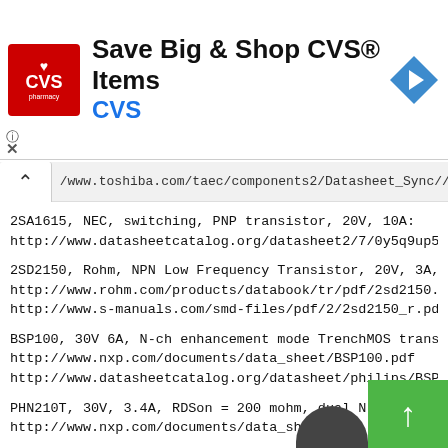[Figure (other): CVS Pharmacy advertisement banner with logo, text 'Save Big & Shop CVS® Items', 'CVS', and a navigation arrow icon]
/www.toshiba.com/taec/components2/Datasheet_Sync//b
2SA1615, NEC, switching, PNP transistor, 20V, 10A:
http://www.datasheetcatalog.org/datasheet2/7/0y5q9up5kxye
2SD2150, Rohm, NPN Low Frequency Transistor, 20V, 3A, mar
http://www.rohm.com/products/databook/tr/pdf/2sd2150.pdf
http://www.s-manuals.com/smd-files/pdf/2/2sd2150_r.pdf
BSP100, 30V 6A, N-ch enhancement mode TrenchMOS transisto
http://www.nxp.com/documents/data_sheet/BSP100.pdf
http://www.datasheetcatalog.org/datasheet/philips/BSP100_
PHN210T, 30V, 3.4A, RDSon = 200 mohm, dual N-ch Tre
http://www.nxp.com/documents/data_she...10T.pdf